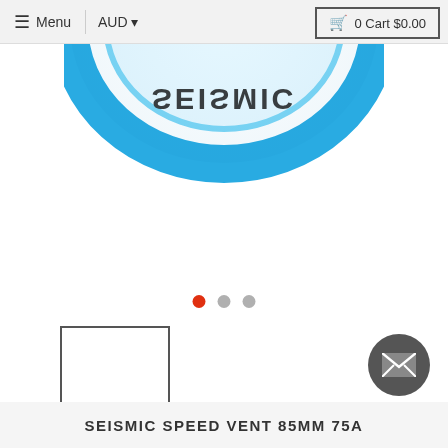≡ Menu  |  AUD ▾  🛒 0 Cart $0.00
[Figure (photo): Partial view of a blue Seismic branded wheel/disc product, showing the top curved portion with 'SEISMIC' text mirrored, photographed from above against white background]
[Figure (infographic): Three carousel navigation dots: first dot is red (active), second and third dots are grey (inactive)]
[Figure (photo): Small thumbnail image box with black border outline, white interior, representing a product thumbnail selector]
[Figure (illustration): Dark grey circular mail/envelope button in bottom right corner]
SEISMIC SPEED VENT 85MM 75A